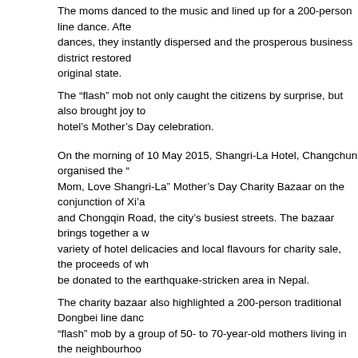The moms danced to the music and lined up for a 200-person line dance.  After the dances, they instantly dispersed and the prosperous business district restored to its original state.
The “flash” mob not only caught the citizens by surprise, but also brought joy to the hotel’s Mother’s Day celebration.
On the morning of 10 May 2015, Shangri-La Hotel, Changchun organised the “Love Mom, Love Shangri-La” Mother’s Day Charity Bazaar on the conjunction of Xi’an Road and Chongqin Road, the city’s busiest streets.  The bazaar brings together a wide variety of hotel delicacies and local flavours for charity sale, the proceeds of which will be donated to the earthquake-stricken area in Nepal.
The charity bazaar also highlighted a 200-person traditional Dongbei line dance “flash” mob by a group of 50- to 70-year-old mothers living in the neighbourhood.  As the music started, many dancers from all directions began dancing cheerfully, attracting several people to join in.
A few minutes later, nearly 200 people had participated in the line dance.  Smiling and cheerful, some of them were passers-by, some were of gray hair and some were staff of Shangri-La Hotel, Changchun who joined the line dance to celebrate this special holiday with the moms there.
The dance demonstrated the full bloom and vitality of all the moms.  One of the moms said that, because it was Mother’s Day, she wore make-up and joined the activity to show her children her pretty and dynamic side.  She added that she was very happy to be part of the line dance and celebrated a great festival.